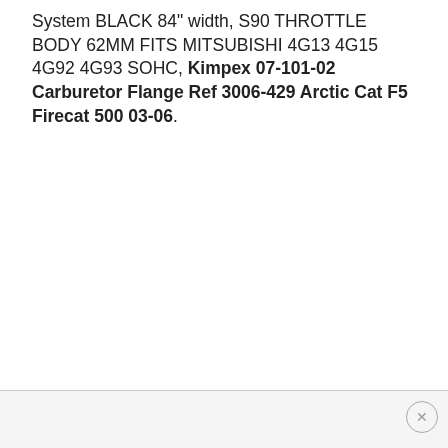System BLACK 84" width, S90 THROTTLE BODY 62MM FITS MITSUBISHI 4G13 4G15 4G92 4G93 SOHC, Kimpex 07-101-02 Carburetor Flange Ref 3006-429 Arctic Cat F5 Firecat 500 03-06.